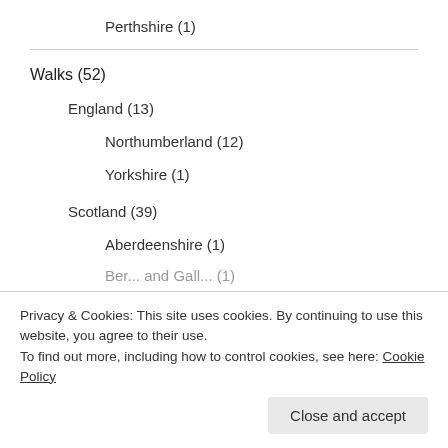Perthshire (1)
Walks (52)
England (13)
Northumberland (12)
Yorkshire (1)
Scotland (39)
Aberdeenshire (1)
Privacy & Cookies: This site uses cookies. By continuing to use this website, you agree to their use.
To find out more, including how to control cookies, see here: Cookie Policy
Close and accept